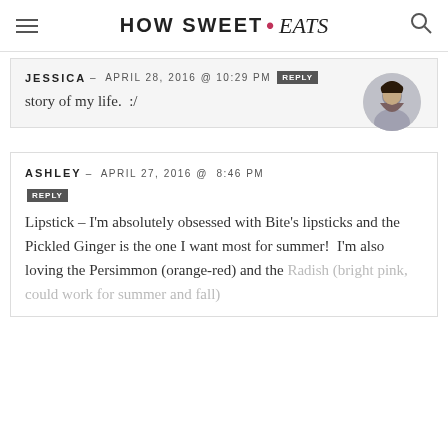HOW SWEET • eats
JESSICA – APRIL 28, 2016 @ 10:29 PM REPLY
story of my life. :/
ASHLEY – APRIL 27, 2016 @ 8:46 PM REPLY
Lipstick – I'm absolutely obsessed with Bite's lipsticks and the Pickled Ginger is the one I want most for summer! I'm also loving the Persimmon (orange-red) and the Radish (bright pink, could work for summer and fall)